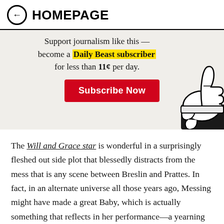← HOMEPAGE
[Figure (infographic): Promotional banner with text 'Support journalism like this — become a Daily Beast subscriber for less than 11¢ per day.' with a red Subscribe Now button and a cartoon thumbs-up illustration.]
The Will and Grace star is wonderful in a surprisingly fleshed out side plot that blessedly distracts from the mess that is any scene between Breslin and Prattes. In fact, in an alternate universe all those years ago, Messing might have made a great Baby, which is actually something that reflects in her performance—a yearning for the opportunities then that her daughter has now.